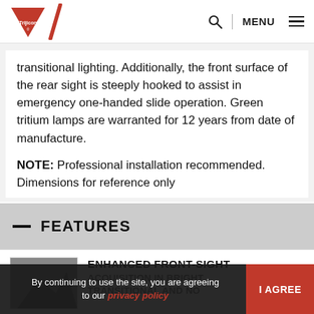Trijicon — Search | MENU
transitional lighting. Additionally, the front surface of the rear sight is steeply hooked to assist in emergency one-handed slide operation. Green tritium lamps are warranted for 12 years from date of manufacture.
NOTE: Professional installation recommended. Dimensions for reference only
— FEATURES
ENHANCED FRONT-SIGHT ACQUISITION IN BRIGHT TRANSITIONAL AND NO
By continuing to use the site, you are agreeing to our privacy policy. I AGREE